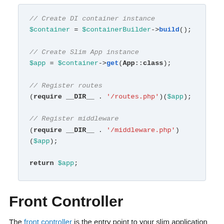[Figure (screenshot): PHP code block showing DI container and Slim App setup: creating a DI container instance, creating a Slim App instance, registering routes and middleware, and returning $app.]
Front Controller
The front controller is the entry point to your slim application and it handles all requests and routes them...